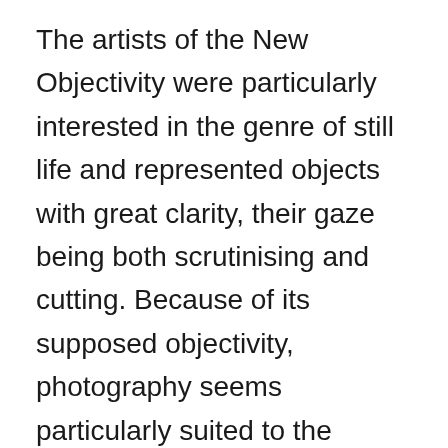The artists of the New Objectivity were particularly interested in the genre of still life and represented objects with great clarity, their gaze being both scrutinising and cutting. Because of its supposed objectivity, photography seems particularly suited to the precise rendering of things in their materiality. Inspired by this hyperrealistic fidelity, the painters appropriated the visual language of photography. Rubber cacti and fig trees were very popular in 1920s Germany, where they were sought after for their exoticism. Artists are passionate about these plants then perceived as the plant equivalent of crystalline stone: architectural, geometric, abstract. Xaver Fuhr and Alexander Kanoldt paint figs with great meticulousness, in uncluttered compositions that bring out their clear structure. Georg Scholz values the stiffness of the cactus, in resonance with the rigid pictorial style of the New